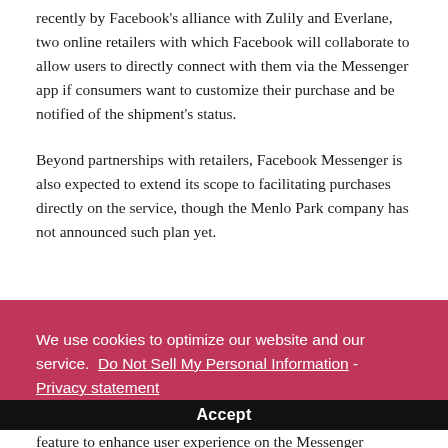recently by Facebook's alliance with Zulily and Everlane, two online retailers with which Facebook will collaborate to allow users to directly connect with them via the Messenger app if consumers want to customize their purchase and be notified of the shipment's status.
Beyond partnerships with retailers, Facebook Messenger is also expected to extend its scope to facilitating purchases directly on the service, though the Menlo Park company has not announced such plan yet.
We use cookies to optimize our website and our service.  Do Not Sell My Personal Information - Privacy statement
Accept
feature to enhance user experience on the Messenger